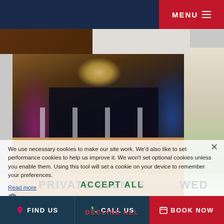MENU ≡
[Figure (photo): Ballroom event venue interior with chandeliers, star-lit backdrop, round tables with gold chairs, purple and blue uplighting, wooden dance floor]
[Figure (photo): Partial view of a wedding venue room with white floral arrangement, white chairs, bright lighting]
We use necessary cookies to make our site work. We'd also like to set performance cookies to help us improve it. We won't set optional cookies unless you enable them. Using this tool will set a cookie on your device to remember your preferences.
Read more
EDIT PREFERENCES
ACCEPT ALL
PRIVATE EVENTS
WED
DECLINE ALL
FIND US   CALL US   BOOK NOW